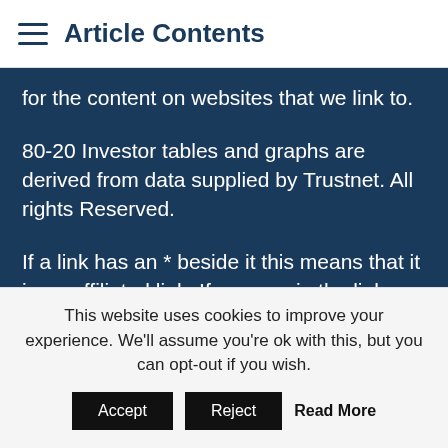Article Contents
for the content on websites that we link to.
80-20 Investor tables and graphs are derived from data supplied by Trustnet. All rights Reserved.
If a link has an * beside it this means that it is an affiliated link. If you go via the link, Money to the Masses may receive a small fee which helps keep Money to the Masses free to use.
** 51% of consumers could save £319.03 on their
This website uses cookies to improve your experience. We'll assume you're ok with this, but you can opt-out if you wish.